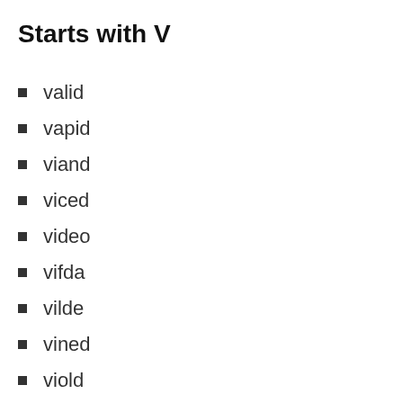Starts with V
valid
vapid
viand
viced
video
vifda
vilde
vined
viold
vired
virid